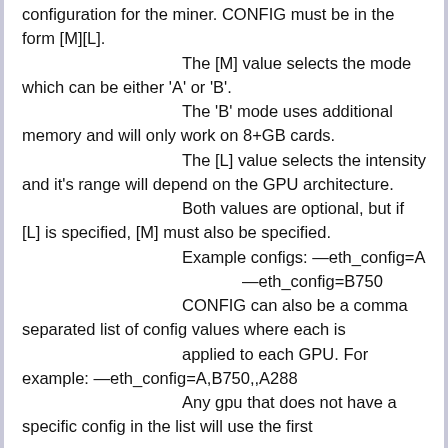configuration for the miner. CONFIG must be in the form [M][L]. The [M] value selects the mode which can be either 'A' or 'B'. The 'B' mode uses additional memory and will only work on 8+GB cards. The [L] value selects the intensity and it's range will depend on the GPU architecture. Both values are optional, but if [L] is specified, [M] must also be specified. Example configs: —eth_config=A —eth_config=B750 CONFIG can also be a comma separated list of config values where each is applied to each GPU. For example: —eth_config=A,B750,,A288 Any gpu that does not have a specific config in the list will use the first